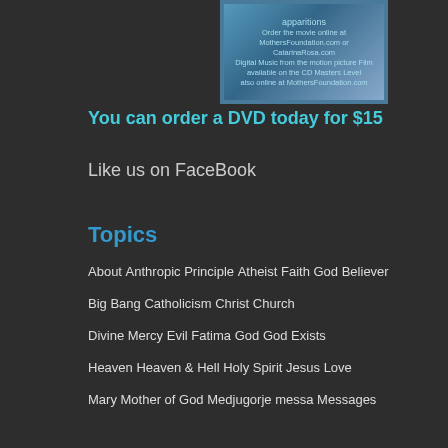[Figure (illustration): DVD movie cover or promotional image with blue background and text about ordering]
You can order a DVD today for $15
Like us on FaceBook
Topics
About
Anthropic Principle
Atheist Faith God
Believer
Big Bang
Catholicism
Christ
Church
Divine Mercy
Evil
Fatima
God
God Exists
Heaven
Heaven & Hell
Holy Spirit
Jesus
Love
Mary Mother of God
Medjugorje
messa
Messages